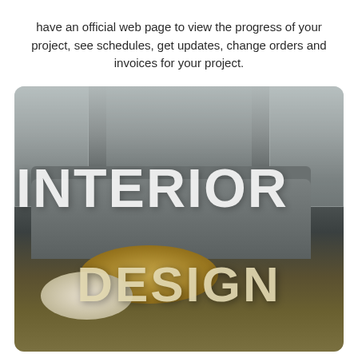have an official web page to view the progress of your project, see schedules, get updates, change orders and invoices for your project.
[Figure (photo): Interior design promotional image showing a modern living room with a grey sofa, gold and white circular coffee tables, and wall paneling, with large white overlay text reading 'INTERIOR' and gold overlay text reading 'DESIGN']